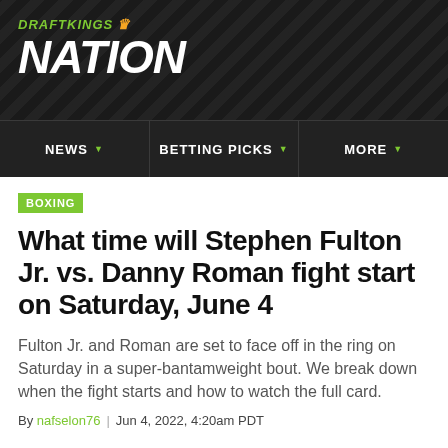[Figure (logo): DraftKings Nation logo on dark diagonal-striped background]
NEWS | BETTING PICKS | MORE
BOXING
What time will Stephen Fulton Jr. vs. Danny Roman fight start on Saturday, June 4
Fulton Jr. and Roman are set to face off in the ring on Saturday in a super-bantamweight bout. We break down when the fight starts and how to watch the full card.
By nafselon76 | Jun 4, 2022, 4:20am PDT